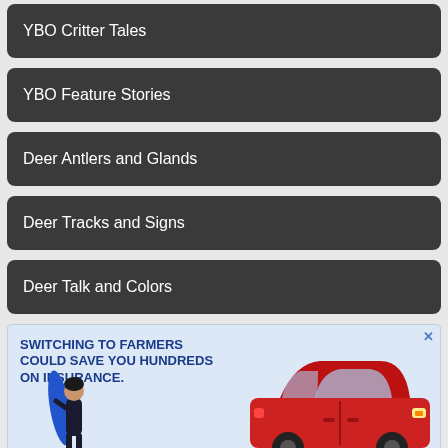YBO Critter Tales
YBO Feature Stories
Deer Antlers and Glands
Deer Tracks and Signs
Deer Talk and Colors
[Figure (illustration): Advertisement for Farmers Insurance showing a red SUV and a person holding a surfboard, with text: SWITCHING TO FARMERS COULD SAVE YOU HUNDREDS ON INSURANCE.]